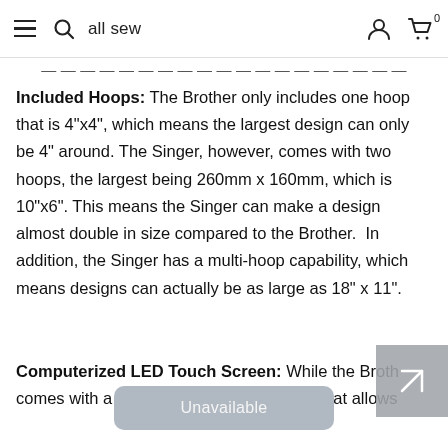all sew
Included Hoops: The Brother only includes one hoop that is 4"x4", which means the largest design can only be 4" around. The Singer, however, comes with two hoops, the largest being 260mm x 160mm, which is 10"x6". This means the Singer can make a design almost double in size compared to the Brother.  In addition, the Singer has a multi-hoop capability, which means designs can actually be as large as 18" x 11".
Computerized LED Touch Screen: While the Brother comes with a computerized touch screen that allows